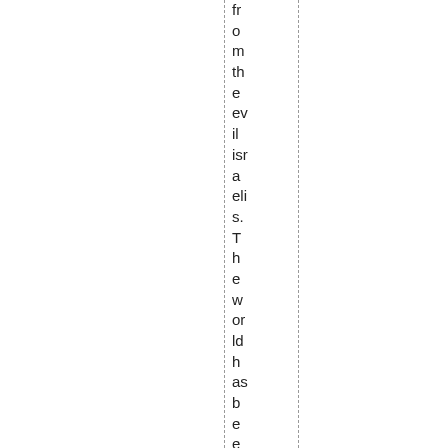from the evil israelis. The world has been watching this s